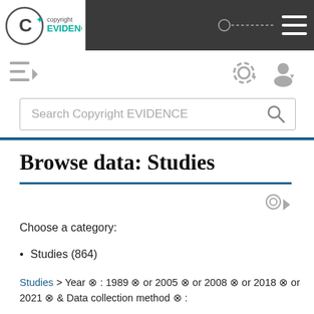[Figure (screenshot): Copyright EVIDENCE website header with logo and dark navigation bar]
[Figure (screenshot): Toolbar row with hamburger menu, settings gear icon, and user account icon]
[Figure (screenshot): Search bar with placeholder text 'Search Copyright EVIDENCE' and search icon]
Browse data: Studies
Choose a category:
Studies (864)
Studies > Year ⊗ : 1989 ⊗ or 2005 ⊗ or 2008 ⊗ or 2018 ⊗ or 2021 ⊗ & Data collection method ⊗ :